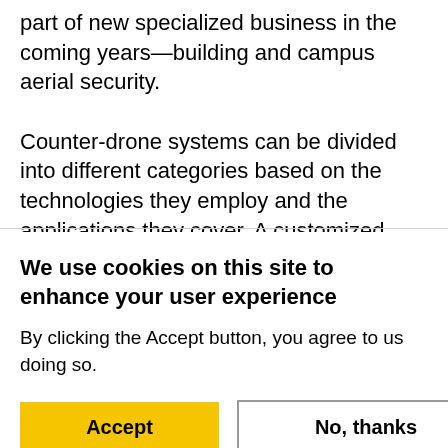part of new specialized business in the coming years—building and campus aerial security.
Counter-drone systems can be divided into different categories based on the technologies they employ and the applications they cover. A customized, total counter-drone system could comprise cameras,
We use cookies on this site to enhance your user experience
By clicking the Accept button, you agree to us doing so.